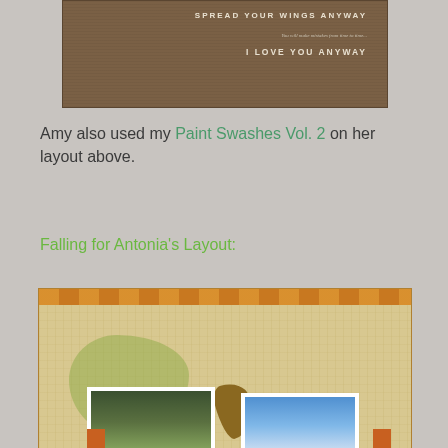[Figure (photo): Scrapbook layout with brown textured background, text 'SPREAD YOUR WINGS ANYWAY' and 'I LOVE YOU ANYWAY' in white letters on brown fabric texture]
Amy also used my Paint Swashes Vol. 2 on her layout above.
Falling for Antonia's Layout:
[Figure (photo): Scrapbook layout with orange patterned border at top, beige linen background, green paint splash, brown dried leaf, and two photos of people outdoors]